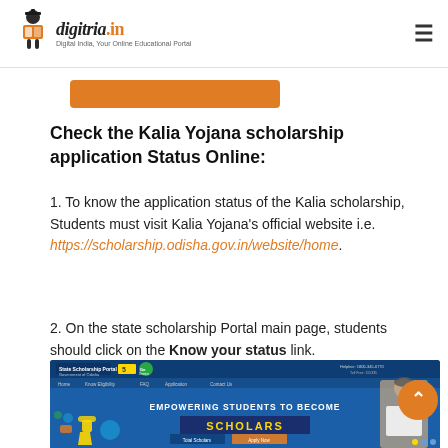digitria.in – Digital India, Your Online Educational Portal
Check the Kalia Yojana scholarship application Status Online:
1. To know the application status of the Kalia scholarship, Students must visit Kalia Yojana's official website i.e. https://scholarship.odisha.gov.in/website/home.
2. On the state scholarship Portal main page, students should click on the Know your status link.
[Figure (screenshot): Screenshot of the State Scholarship Portal of Government of Odisha, showing the homepage with navigation bar, 5-year badge, 'Go Green' badge, helpline numbers, and 'EMPOWERING STUDENTS TO BECOME SCHOLARS' banner with decorative visuals and a political figure photo.]